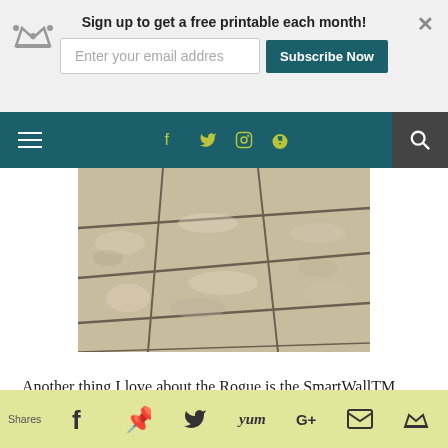Sign up to get a free printable each month! Enter your email addres | Subscribe Now
[Figure (screenshot): Website navigation bar with hamburger menu, social media icons (Facebook, Twitter, Instagram, RSS), and search button on dark teal background]
[Figure (photo): Close-up photograph of beige/tan ceramic floor tiles with dark grout lines, perspective angle view]
Another thing I love about the Rogue is the SmartWallTM technology. This means we can go in to the app and block certain areas (maybe
Shares | Facebook | Pinterest | Twitter | Yum | G+ | Email | Crown